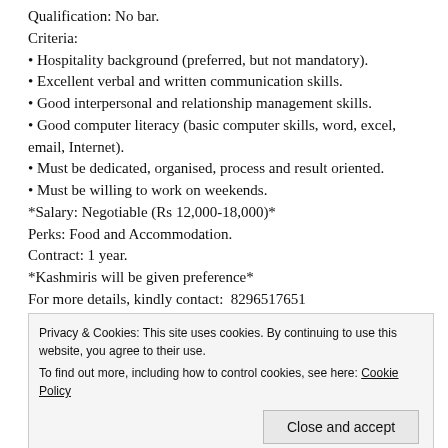Qualification: No bar.
Criteria:
• Hospitality background (preferred, but not mandatory).
• Excellent verbal and written communication skills.
• Good interpersonal and relationship management skills.
• Good computer literacy (basic computer skills, word, excel, email, Internet).
• Must be dedicated, organised, process and result oriented.
• Must be willing to work on weekends.
*Salary: Negotiable (Rs 12,000-18,000)*
Perks: Food and Accommodation.
Contract: 1 year.
*Kashmiris will be given preference*
For more details, kindly contact:  8296517651
and send your CVs at: info@manzargroup.com
*Shortlisted candidates will have to go through a round of Zoom
Privacy & Cookies: This site uses cookies. By continuing to use this website, you agree to their use. To find out more, including how to control cookies, see here: Cookie Policy
Close and accept